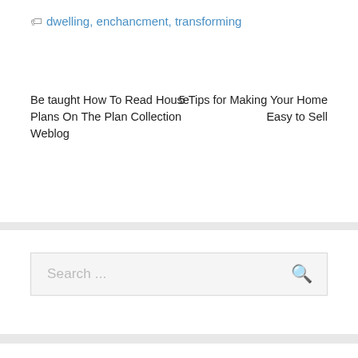dwelling, enchancment, transforming
Be taught How To Read House Plans On The Plan Collection Weblog
5 Tips for Making Your Home Easy to Sell
[Figure (other): Search box with placeholder text 'Search ...' and a search icon button]